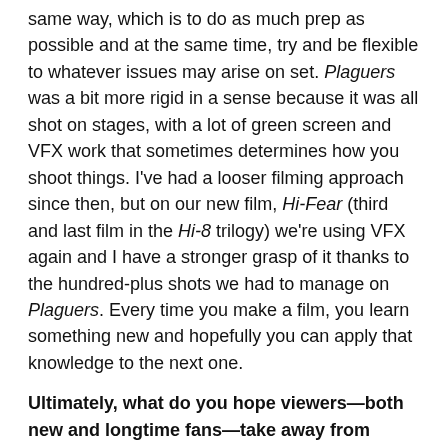same way, which is to do as much prep as possible and at the same time, try and be flexible to whatever issues may arise on set. Plaguers was a bit more rigid in a sense because it was all shot on stages, with a lot of green screen and VFX work that sometimes determines how you shoot things. I've had a looser filming approach since then, but on our new film, Hi-Fear (third and last film in the Hi-8 trilogy) we're using VFX again and I have a stronger grasp of it thanks to the hundred-plus shots we had to manage on Plaguers. Every time you make a film, you learn something new and hopefully you can apply that knowledge to the next one.
Ultimately, what do you hope viewers—both new and longtime fans—take away from Plaguers?
Brad Sykes: I hope they have a good time with the movie, and appreciate the retro style of the project, with